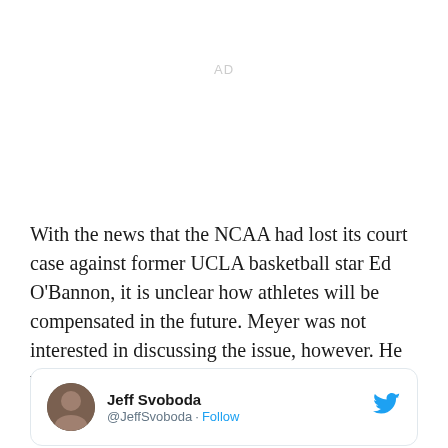AD
With the news that the NCAA had lost its court case against former UCLA basketball star Ed O'Bannon, it is unclear how athletes will be compensated in the future. Meyer was not interested in discussing the issue, however. He was totally focused on the football field:
[Figure (screenshot): Tweet card with Jeff Svoboda's profile photo, name '@JeffSvoboda' handle, Follow link, and Twitter bird logo]